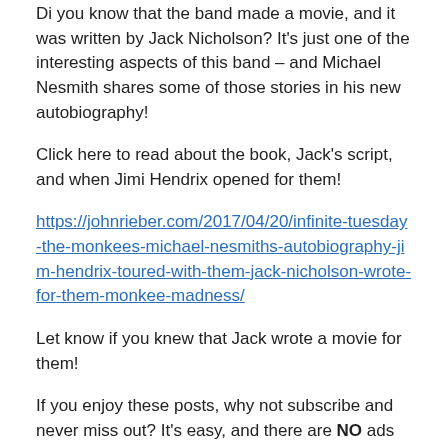Di you know that the band made a movie, and it was written by Jack Nicholson? It's just one of the interesting aspects of this band – and Michael Nesmith shares some of those stories in his new autobiography!
Click here to read about the book, Jack's script, and when Jimi Hendrix opened for them!
https://johnrieber.com/2017/04/20/infinite-tuesday-the-monkees-michael-nesmiths-autobiography-jim-hendrix-toured-with-them-jack-nicholson-wrote-for-them-monkee-madness/
Let know if you knew that Jack wrote a movie for them!
If you enjoy these posts, why not subscribe and never miss out? It's easy, and there are NO ads of any kind, just stuff I like…click on the main page and “follow” me on the